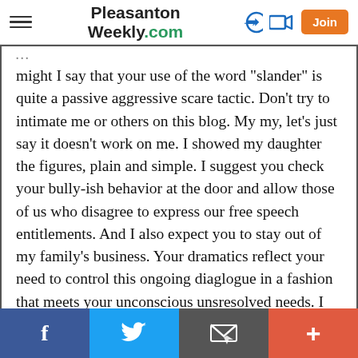Pleasanton Weekly.com
might I say that your use of the word "slander" is quite a passive aggressive scare tactic. Don't try to intimate me or others on this blog. My my, let's just say it doesn't work on me. I showed my daughter the figures, plain and simple. I suggest you check your bully-ish behavior at the door and allow those of us who disagree to express our free speech entitlements. And I also expect you to stay out of my family's business. Your dramatics reflect your need to control this ongoing diaglogue in a fashion that meets your unconscious unsresolved needs. I am responsible for controlling the chaos in my world and I expect you to control the chaos in your world.
Report Objectionable Content
Facebook | Twitter | Email | More